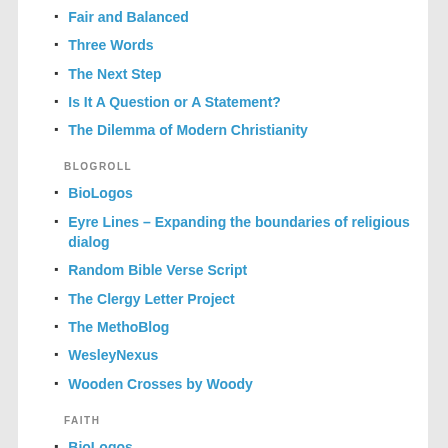Fair and Balanced
Three Words
The Next Step
Is It A Question or A Statement?
The Dilemma of Modern Christianity
BLOGROLL
BioLogos
Eyre Lines – Expanding the boundaries of religious dialog
Random Bible Verse Script
The Clergy Letter Project
The MethoBlog
WesleyNexus
Wooden Crosses by Woody
FAITH
BioLogos
Eyre Lines – Expanding the boundaries of religious dialog
Jesus & Compassion